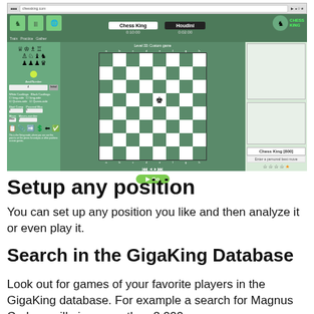[Figure (screenshot): Screenshot of Chess King software showing a chess board setup interface with pieces, controls, and Chess King / Houdini header]
Setup any position
You can set up any position you like and then analyze it or even play it.
Search in the GigaKing Database
Look out for games of your favorite players in the GigaKing database. For example a search for Magnus Carlsen will give more than 2,000 games